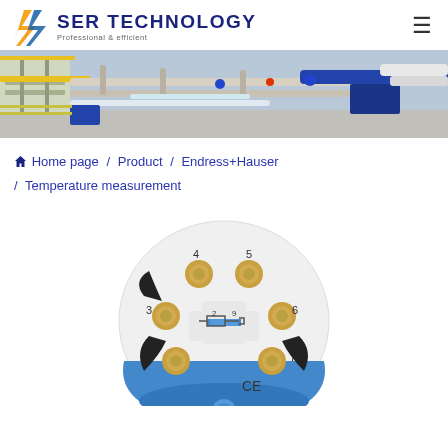SER TECHNOLOGY — Professional & efficient
[Figure (photo): Industrial facility with pipes, valves, and blue equipment — banner image]
Home page / Product / Endress+Hauser / Temperature measurement
[Figure (photo): Endress+Hauser temperature transmitter head (circular white housing with gold terminal screws numbered 3-7, blue center, CE mark visible)]